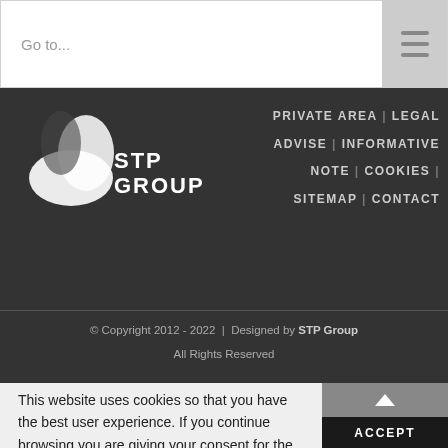Go to...
[Figure (logo): STP Group logo with white leaf/boot icon and STP GROUP text in white on dark background]
PRIVATE AREA | LEGAL ADVISE | INFORMATIVE NOTE | COOKIES | SITEMAP | CONTACT
© Copyright 2012 - 2022 | Designed by STP Group
All Rights Reserved
This website uses cookies so that you have the best user experience. If you continue browsing you are giving your consent for the acceptance of the aforementioned cookies and the acceptance of our Cookies policy.